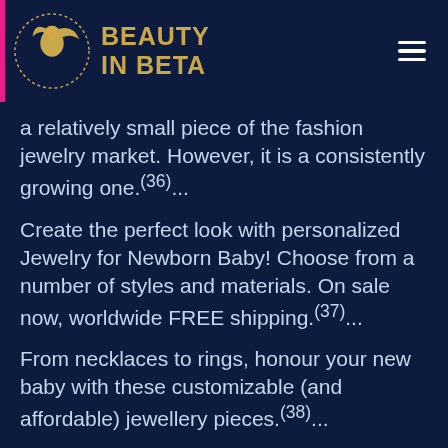Beauty In Beta
a relatively small piece of the fashion jewelry market. However, it is a consistently growing one.(36)...
Create the perfect look with personalized Jewelry for Newborn Baby! Choose from a number of styles and materials. On sale now, worldwide FREE shipping.(37)...
From necklaces to rings, honour your new baby with these customizable (and affordable) jewellery pieces.(38)...